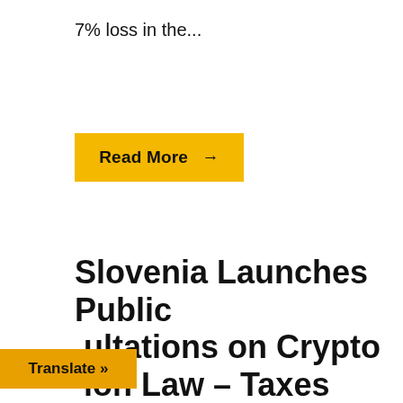7% loss in the...
Read More →
Slovenia Launches Public Consultations on Crypto Tax Law – Taxes
Translate »